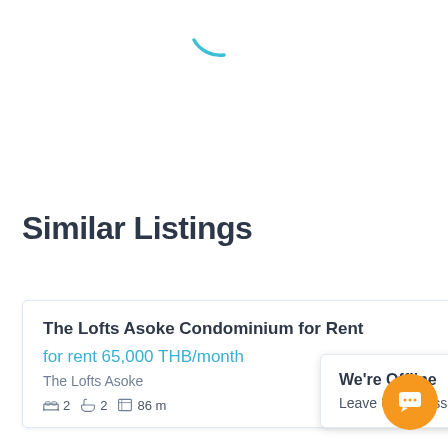[Figure (other): Loading spinner arc in teal/cyan color, partial circle arc at the top of the page]
Similar Listings
The Lofts Asoke Condominium for Rent
for rent 65,000 THB/month
The Lofts Asoke
2  2  86 m
We're Offline
Leave Us A Message